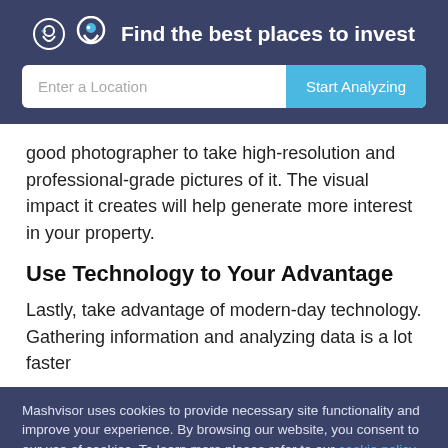Find the best places to invest
[Figure (screenshot): Search bar UI with text input 'Enter a Location' and button 'Start Analyzing']
good photographer to take high-resolution and professional-grade pictures of it. The visual impact it creates will help generate more interest in your property.
Use Technology to Your Advantage
Lastly, take advantage of modern-day technology. Gathering information and analyzing data is a lot faster
Mashvisor uses cookies to provide necessary site functionality and improve your experience. By browsing our website, you consent to our use of cookies. To learn more please refer to our cookie policy
Accept
Reject